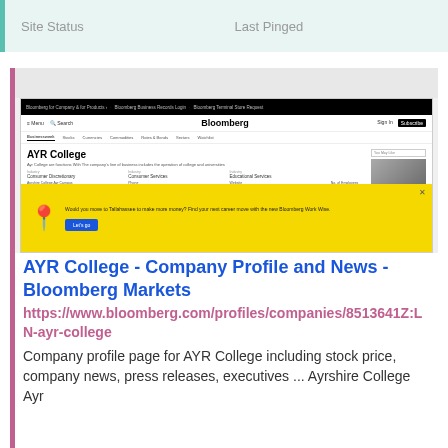| Site Status | Last Pinged |
| --- | --- |
[Figure (screenshot): Bloomberg company profile page screenshot for AYR College, showing navigation bar, company info, and a yellow 'Bloomberg Work Wise' promotional banner with a map pin icon.]
AYR College - Company Profile and News - Bloomberg Markets
https://www.bloomberg.com/profiles/companies/8513641Z:LN-ayr-college
Company profile page for AYR College including stock price, company news, press releases, executives ... Ayrshire College Ayr